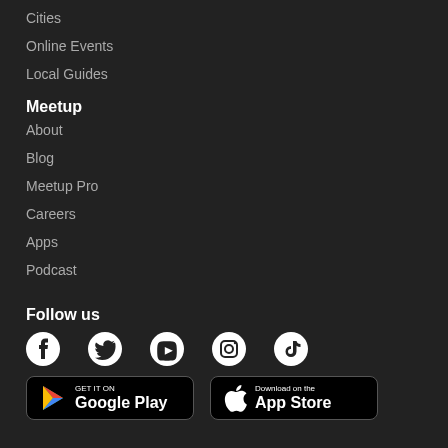Cities
Online Events
Local Guides
Meetup
About
Blog
Meetup Pro
Careers
Apps
Podcast
Follow us
[Figure (illustration): Social media icons: Facebook, Twitter, YouTube, Instagram, TikTok]
[Figure (illustration): App store badges: Google Play and App Store download buttons]